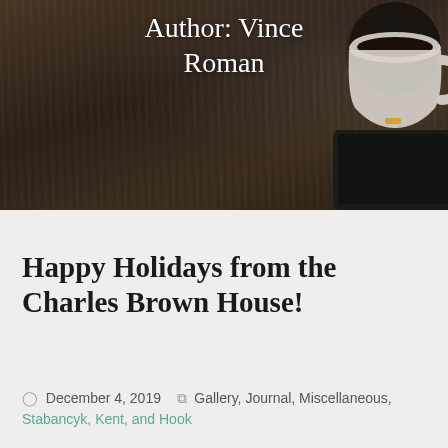[Figure (photo): Hero banner image showing a dark wooden desk surface with a white coffee mug and a dark tablet device, with the text 'Author: Vince Roman' overlaid in white serif font]
Happy Holidays from the Charles Brown House!
December 4, 2019   Gallery, Journal, Miscellaneous, Stabancyk, Kent, and Hook